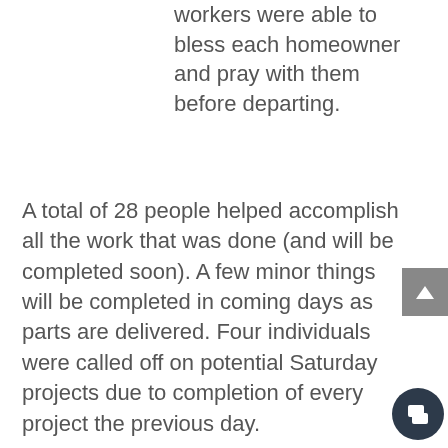workers were able to bless each homeowner and pray with them before departing.
A total of 28 people helped accomplish all the work that was done (and will be completed soon). A few minor things will be completed in coming days as parts are delivered. Four individuals were called off on potential Saturday projects due to completion of every project the previous day.